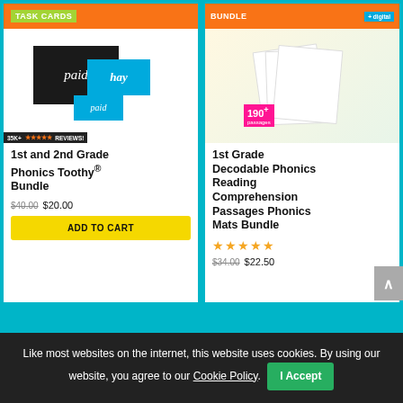[Figure (photo): 1st and 2nd Grade Phonics Toothy Bundle product image with task cards, phonics flashcards showing 'paid' and 'hay', 35K+ reviews badge with orange stars]
1st and 2nd Grade Phonics Toothy® Bundle
$40.00 $20.00
ADD TO CART
[Figure (photo): 1st Grade Decodable Phonics Reading Comprehension Passages Phonics Mats Bundle product image with 190+ passages badge and + digital badge]
1st Grade Decodable Phonics Reading Comprehension Passages Phonics Mats Bundle
★★★★★
$34.00 $22.50
Like most websites on the internet, this website uses cookies. By using our website, you agree to our Cookie Policy.
I Accept